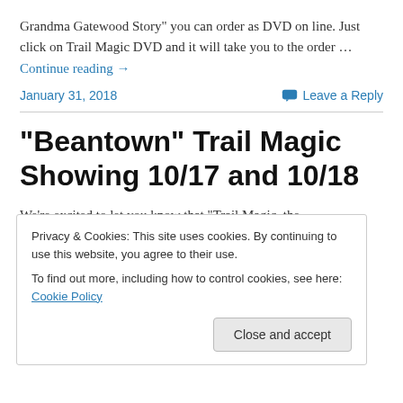Grandma Gatewood Story" you can order as DVD on line. Just click on Trail Magic DVD and it will take you to the order … Continue reading →
January 31, 2018   Leave a Reply
“Beantown” Trail Magic Showing 10/17 and 10/18
We're excited to let you know that "Trail Magic, the Grandma Gatewood Story" documentary will be shown in
Privacy & Cookies: This site uses cookies. By continuing to use this website, you agree to their use. To find out more, including how to control cookies, see here: Cookie Policy